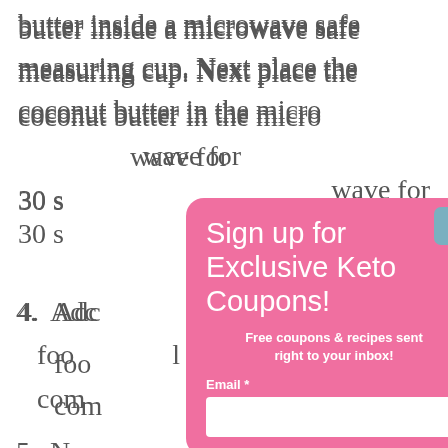butter inside a microwave safe measuring cup. Next place the coconut butter in the microwave for 30 s
4. Add... the food... combine...
5. Next... paper. Roll... balls that... Place... middle
[Figure (other): Modal popup with pink background and teal close button. Title: 'Sign up for Exclusive Keto Coupons!' Subtitle: 'Free coupons & recipes sent right to your inbox!' Email input field and SUBSCRIBE button.]